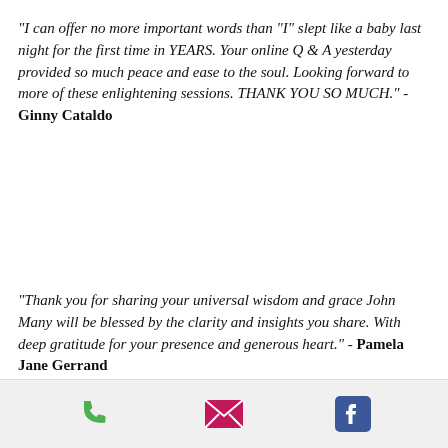“I can offer no more important words than "I" slept like a baby last night for the first time in YEARS. Your online Q & A yesterday provided so much peace and ease to the soul. Looking forward to more of these enlightening sessions. THANK YOU SO MUCH.” - Ginny Cataldo
"Thank you for sharing your universal wisdom and grace John  Many will be blessed by the clarity and insights you share. With deep gratitude for your presence and generous heart." - Pamela Jane Gerrand
[Figure (other): Footer bar with three icons: a green phone icon, a pink/red envelope icon, and a blue Facebook icon]